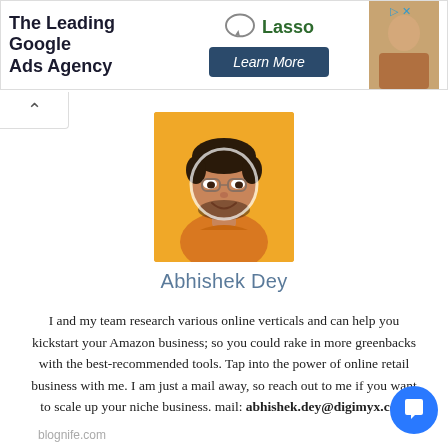[Figure (infographic): Advertisement banner: 'The Leading Google Ads Agency' with Lasso logo and 'Learn More' button, plus a partial photo on the right]
[Figure (photo): Profile photo of Abhishek Dey, a man in an orange shirt with glasses smiling, against an orange background]
Abhishek Dey
I and my team research various online verticals and can help you kickstart your Amazon business; so you could rake in more greenbacks with the best-recommended tools. Tap into the power of online retail business with me. I am just a mail away, so reach out to me if you want to scale up your niche business. mail: abhishek.dey@digimyx.com
blognife.com